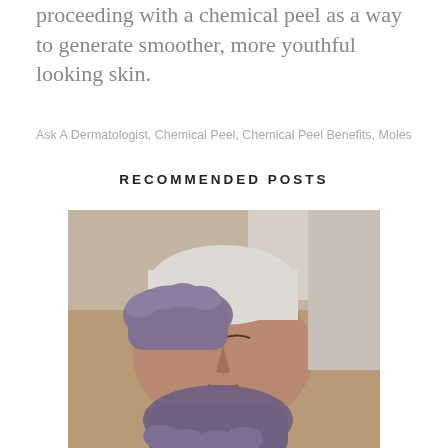proceeding with a chemical peel as a way to generate smoother, more youthful looking skin.
Ask A Dermatologist, Chemical Peel, Chemical Peel Benefits, Moles
RECOMMENDED POSTS
[Figure (photo): A woman lying down receiving a facial treatment with gloved hands massaging her face]